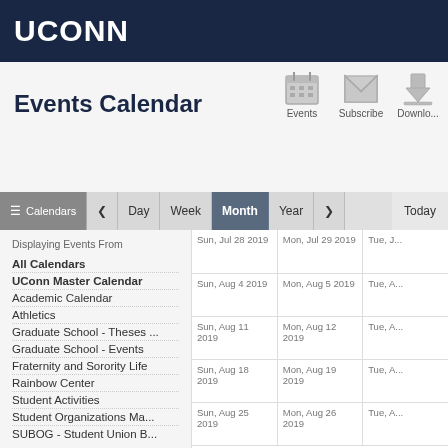UCONN
Events Calendar
Events  Subscribe  Download
Calendars  <  Day  Week  Month  Year  >  Today
Displaying Events From
All Calendars
UConn Master Calendar
Academic Calendar
Athletics
Graduate School - Theses ...
Graduate School - Events
Fraternity and Sorority Life
Rainbow Center
Student Activities
Student Organizations Ma...
SUBOG - Student Union B...
| Sun | Mon | Tue |
| --- | --- | --- |
| Sun, Jul 28 2019 | Mon, Jul 29 2019 | Tue, J... |
| Sun, Aug 4 2019 | Mon, Aug 5 2019 | Tue, A... |
| Sun, Aug 11 2019 | Mon, Aug 12 2019 | Tue, A... |
| Sun, Aug 18 2019 | Mon, Aug 19 2019 | Tue, A... |
| Sun, Aug 25 2019 | Mon, Aug 26 2019 | Tue, A... |